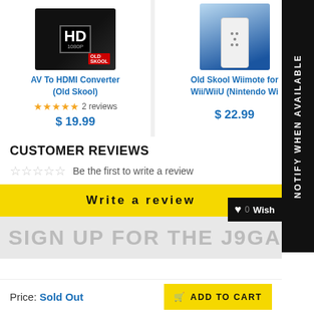[Figure (photo): AV To HDMI Converter (Old Skool) product box with HD 1080p badge, dark packaging]
[Figure (photo): Old Skool Wiimote for Wii/WiiU product in blue packaging, white device visible]
AV To HDMI Converter (Old Skool)
★★★★★ 2 reviews
$ 19.99
Old Skool Wiimote for Wii/WiiU (Nintendo Wi...
$ 22.99
CUSTOMER REVIEWS
Be the first to write a review
Write a review
SIGN UP FOR THE J9GAME...
Price: Sold Out
ADD TO CART